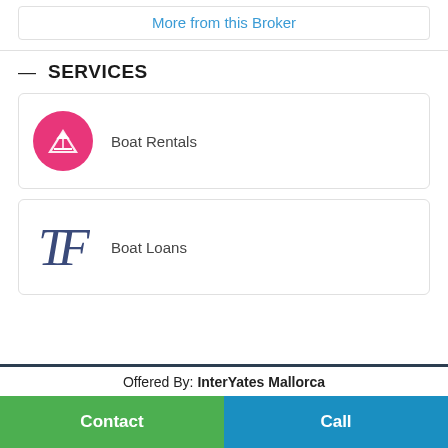More from this Broker
— SERVICES
Boat Rentals
Boat Loans
Offered By: InterYates Mallorca
Contact
Call